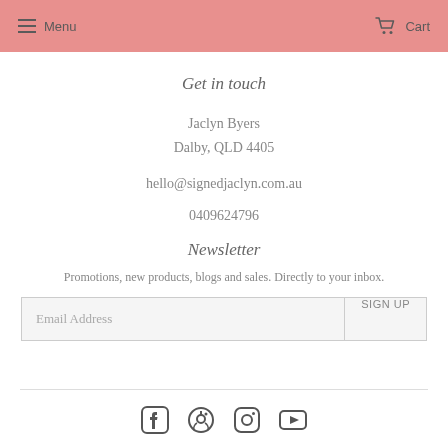Menu  Cart
Get in touch
Jaclyn Byers
Dalby, QLD 4405
hello@signedjaclyn.com.au
0409624796
Newsletter
Promotions, new products, blogs and sales. Directly to your inbox.
Email Address  SIGN UP
[Figure (other): Social media icons: Facebook, Pinterest, Instagram, YouTube]